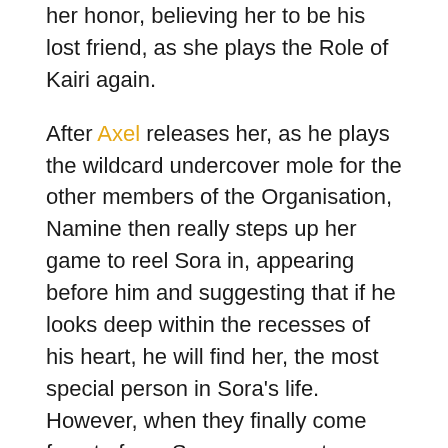her honor, believing her to be his lost friend, as she plays the Role of Kairi again.

After Axel releases her, as he plays the wildcard undercover mole for the other members of the Organisation, Namine then really steps up her game to reel Sora in, appearing before him and suggesting that if he looks deep within the recesses of his heart, he will find her, the most special person in Sora's life. However, when they finally come face to face, Sora manages to see past the facade and remembers that she is not the person that he holds dear; she is an imposter. This eureka moment is cut short when Replica Riku bounds in and attacks Sora. Sora defeats him, however, and true to form; he cannot see this Replica of his friend in pain, so he tries to help, only for the Riku Replica to get in a